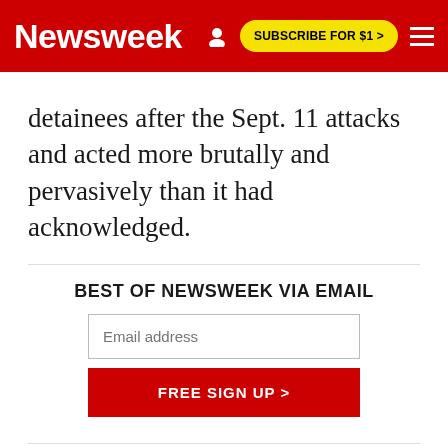Newsweek | SUBSCRIBE FOR $1 >
detainees after the Sept. 11 attacks and acted more brutally and pervasively than it had acknowledged.
BEST OF NEWSWEEK VIA EMAIL
Email address
FREE SIGN UP >
Britain's foreign and domestic security services, known as MI6 and MI5, have for years been accused of colluding in the ill-